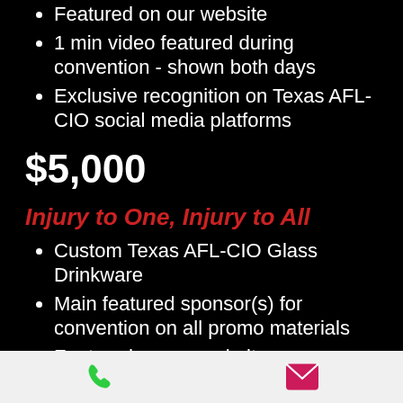Featured on our website
1 min video featured during convention - shown both days
Exclusive recognition on Texas AFL-CIO social media platforms
$5,000
Injury to One, Injury to All
Custom Texas AFL-CIO Glass Drinkware
Main featured sponsor(s) for convention on all promo materials
Featured on our website
1 min featured video during convention - shown both days
Phone and email contact icons